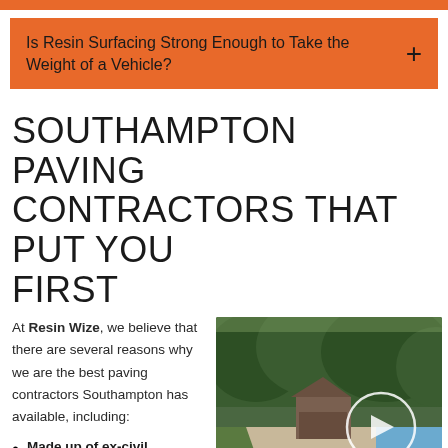Is Resin Surfacing Strong Enough to Take the Weight of a Vehicle?
SOUTHAMPTON PAVING CONTRACTORS THAT PUT YOU FIRST
At Resin Wize, we believe that there are several reasons why we are the best paving contractors Southampton has available, including:
[Figure (photo): Outdoor patio area with a gazebo, resin-paved paths, lawn, and a swimming pool. A play/video circle button overlay is visible.]
Made up of ex-civil engineers